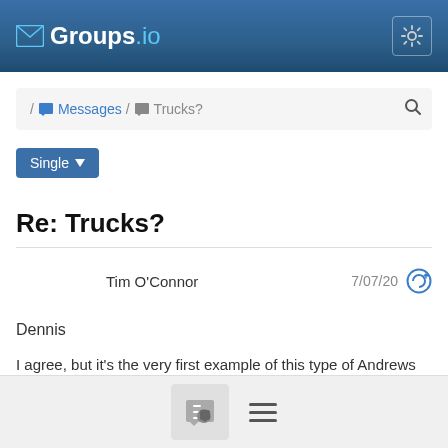Groups.io
/ Messages / Trucks?
Single
Re: Trucks?
Tim O'Connor  7/07/20
Dennis

I agree, but it's the very first example of this type of Andrews truck I've ever seen - or at least, recall ever seeing.